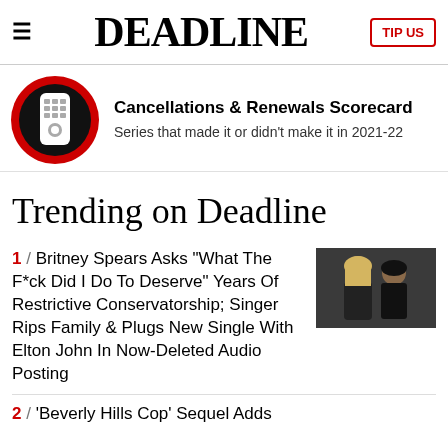DEADLINE
Cancellations & Renewals Scorecard
Series that made it or didn't make it in 2021-22
Trending on Deadline
1 / Britney Spears Asks "What The F*ck Did I Do To Deserve" Years Of Restrictive Conservatorship; Singer Rips Family & Plugs New Single With Elton John In Now-Deleted Audio Posting
[Figure (photo): Photo of Britney Spears with a man, both in dark clothing]
2 / 'Beverly Hills Cop' Sequel Adds